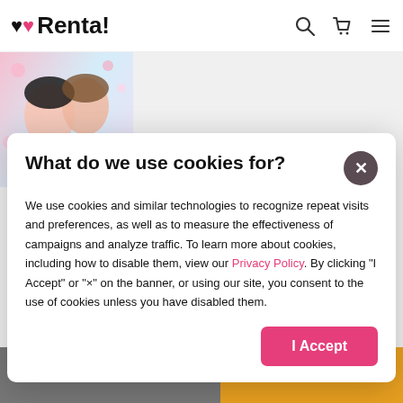Renta!
[Figure (screenshot): Renta! manga website screenshot with cookie consent dialog. Header shows Renta! logo with heart icon, search, cart, and menu icons. Background shows manga cover artwork. A white modal dialog asks 'What do we use cookies for?' with body text explaining cookie usage, a pink Privacy Policy link, a close X button, and an I Accept button.]
What do we use cookies for?
We use cookies and similar technologies to recognize repeat visits and preferences, as well as to measure the effectiveness of campaigns and analyze traffic. To learn more about cookies, including how to disable them, view our Privacy Policy. By clicking "I Accept" or "×" on the banner, or using our site, you consent to the use of cookies unless you have disabled them.